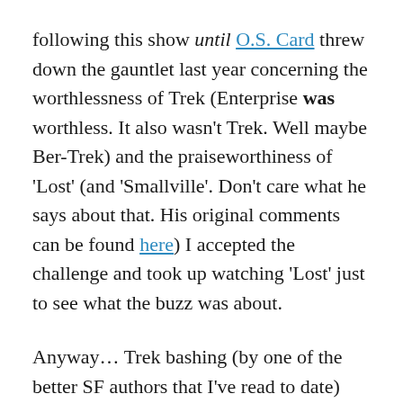following this show until O.S. Card threw down the gauntlet last year concerning the worthlessness of Trek (Enterprise was worthless. It also wasn't Trek. Well maybe Ber-Trek) and the praiseworthiness of 'Lost' (and 'Smallville'. Don't care what he says about that. His original comments can be found here) I accepted the challenge and took up watching 'Lost' just to see what the buzz was about.
Anyway… Trek bashing (by one of the better SF authors that I've read to date) aside, I've gotten hooked on Lost. It's a pretty good show (still don't know if I'd call it SciFi) the episodes are character and plot driven, and they are cut in such a way as to keep you interested in the